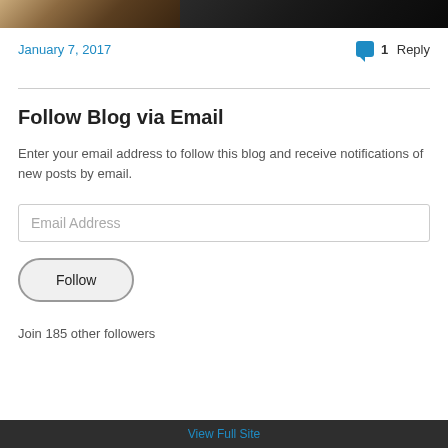[Figure (photo): Two side-by-side cropped photos at the top of the page: left shows a wooden surface with warm tones, right shows a dark indoor scene]
January 7, 2017
1 Reply
Follow Blog via Email
Enter your email address to follow this blog and receive notifications of new posts by email.
Email Address
Follow
Join 185 other followers
View Full Site